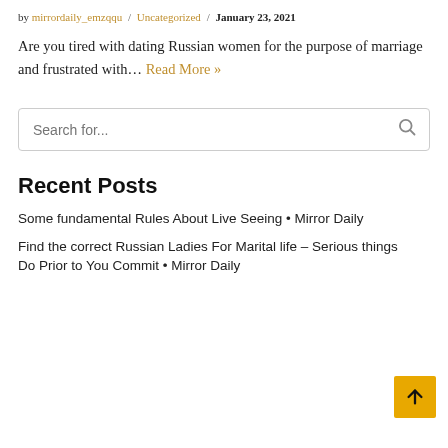by mirrordaily_emzqqu / Uncategorized / January 23, 2021
Are you tired with dating Russian women for the purpose of marriage and frustrated with… Read More »
[Figure (other): Search bar with placeholder text 'Search for...' and a magnifier icon]
Recent Posts
Some fundamental Rules About Live Seeing • Mirror Daily
Find the correct Russian Ladies For Marital life – Serious things Do Prior to You Commit • Mirror Daily